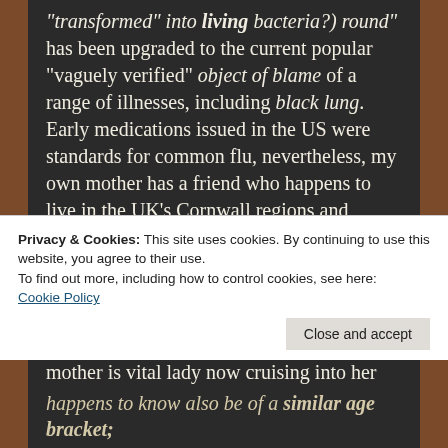“transformed” into living bacteria?) round” has been upgraded to the current popular “vaguely verified” object of blame of a range of illnesses, including black lung. Early medications issued in the US were standards for common flu, nevertheless, my own mother has a friend who happens to live in the UK’s Cornwall regions and, though some information is a repeat of prior feedback, this account deserves separate attention. Apparently the woman in question knows some of the Coronavirus afflicted personally. As would be expected, my mother is vital lady now cruising into her seventies (although she never admits to being “forty”)
Privacy & Cookies: This site uses cookies. By continuing to use this website, you agree to their use.
To find out more, including how to control cookies, see here:
Cookie Policy
Close and accept
happens to know also be of a similar age bracket;